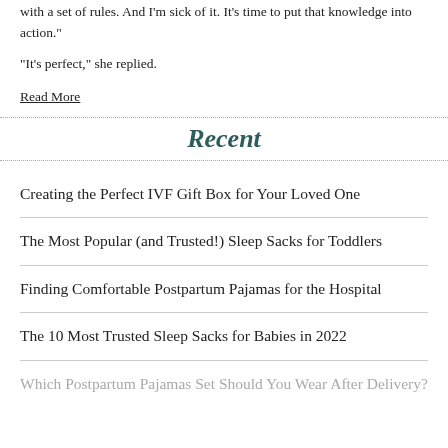with a set of rules. And I'm sick of it. It's time to put that knowledge into action."
“It's perfect,” she replied.
Read More
Recent
Creating the Perfect IVF Gift Box for Your Loved One
The Most Popular (and Trusted!) Sleep Sacks for Toddlers
Finding Comfortable Postpartum Pajamas for the Hospital
The 10 Most Trusted Sleep Sacks for Babies in 2022
Which Postpartum Pajamas Set Should You Wear After Delivery?